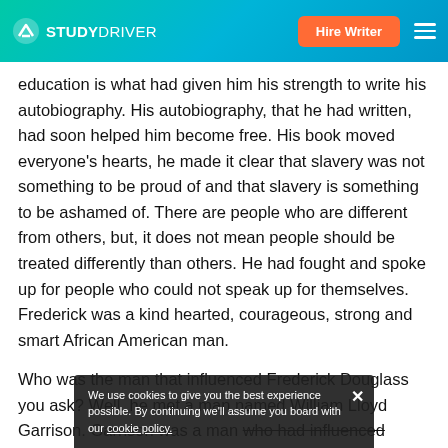STUDYDRIVER — Hire Writer
education is what had given him his strength to write his autobiography. His autobiography, that he had written, had soon helped him become free. His book moved everyone's hearts, he made it clear that slavery was not something to be proud of and that slavery is something to be ashamed of. There are people who are different from others, but, it does not mean people should be treated differently than others. He had fought and spoke up for people who could not speak up for themselves. Frederick was a kind hearted, courageous, strong and smart African American man.
Who was the man that influenced Frederick Douglass you ask? Well, he met a man named William Lloyd Garrison. Garrison was a man who had influenced Douglass to become a speaker and a leader in the abolitionist movement. Although Garrison had impressed Douglass,